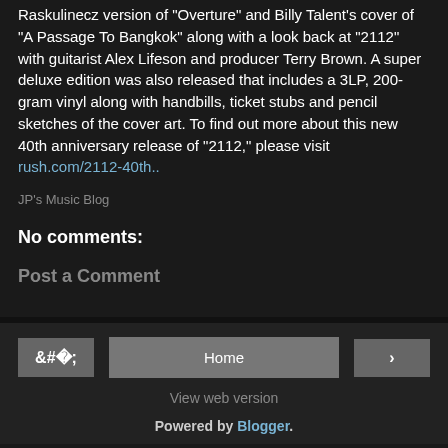Raskulinecz version of "Overture" and Billy Talent's cover of "A Passage To Bangkok" along with a look back at "2112" with guitarist Alex Lifeson and producer Terry Brown. A super deluxe edition was also released that includes a 3LP, 200-gram vinyl along with handbills, ticket stubs and pencil sketches of the cover art. To find out more about this new 40th anniversary release of "2112," please visit rush.com/2112-40th..
JP's Music Blog
No comments:
Post a Comment
Home | View web version | Powered by Blogger.